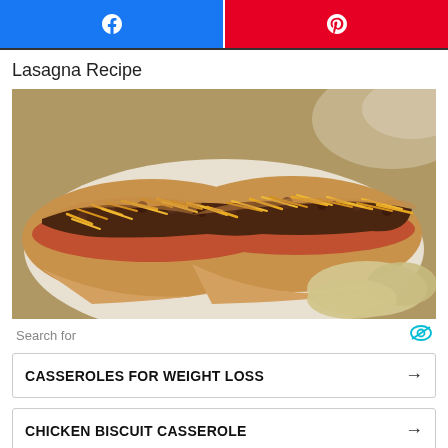[Figure (other): Facebook and Pinterest social sharing buttons at top of page]
Lasagna Recipe
[Figure (photo): Close-up photo of two chili cheese hot dogs on buns, topped with shredded cheddar cheese and ground meat chili, served with chips on a plate]
Search for
CASSEROLES FOR WEIGHT LOSS →
CHICKEN BISCUIT CASSEROLE →